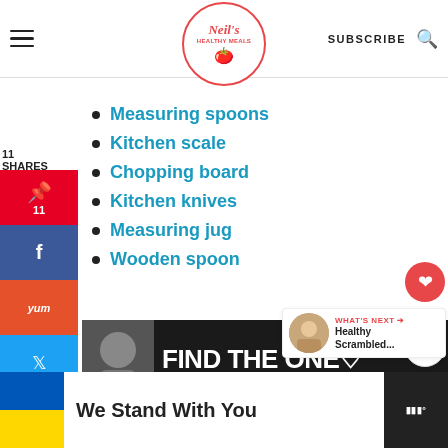Neil's Healthy Meals | SUBSCRIBE
Measuring spoons
Kitchen scale
Chopping board
Kitchen knives
Measuring jug
Wooden spoon
[Figure (other): Ad banner: FIND THE ONE with dog image]
[Figure (other): What's Next: Healthy Scrambled...]
[Figure (other): Bottom ad banner: We Stand With You, Ukraine flag colors]